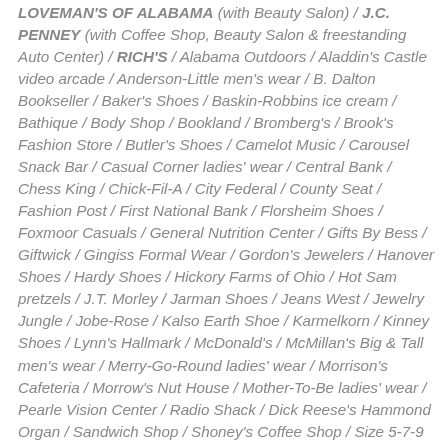LOVEMAN'S OF ALABAMA (with Beauty Salon) / J.C. PENNEY (with Coffee Shop, Beauty Salon & freestanding Auto Center) / RICH'S / Alabama Outdoors / Aladdin's Castle video arcade / Anderson-Little men's wear / B. Dalton Bookseller / Baker's Shoes / Baskin-Robbins ice cream / Bathique / Body Shop / Bookland / Bromberg's / Brook's Fashion Store / Butler's Shoes / Camelot Music / Carousel Snack Bar / Casual Corner ladies' wear / Central Bank / Chess King / Chick-Fil-A / City Federal / County Seat / Fashion Post / First National Bank / Florsheim Shoes / Foxmoor Casuals / General Nutrition Center / Gifts By Bess / Giftwick / Gingiss Formal Wear / Gordon's Jewelers / Hanover Shoes / Hardy Shoes / Hickory Farms of Ohio / Hot Sam pretzels / J.T. Morley / Jarman Shoes / Jeans West / Jewelry Jungle / Jobe-Rose / Kalso Earth Shoe / Karmelkorn / Kinney Shoes / Lynn's Hallmark / McDonald's / McMillan's Big & Tall men's wear / Merry-Go-Round ladies' wear / Morrison's Cafeteria / Morrow's Nut House / Mother-To-Be ladies' wear / Pearle Vision Center / Radio Shack / Dick Reese's Hammond Organ / Sandwich Shop / Shoney's Coffee Shop / Size 5-7-9 Shops ladies' wear / Spencer Gifts / Sports Edition / Stag Shop men's wear / Stride-Rite Shoes /